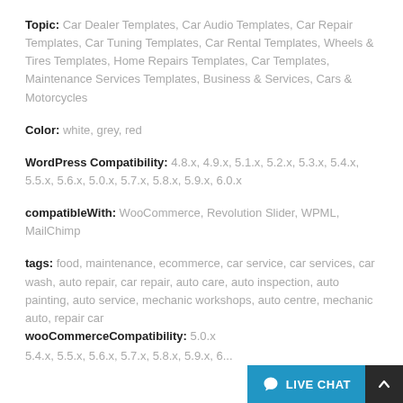Topic: Car Dealer Templates, Car Audio Templates, Car Repair Templates, Car Tuning Templates, Car Rental Templates, Wheels & Tires Templates, Home Repairs Templates, Car Templates, Maintenance Services Templates, Business & Services, Cars & Motorcycles
Color: white, grey, red
WordPress Compatibility: 4.8.x, 4.9.x, 5.1.x, 5.2.x, 5.3.x, 5.4.x, 5.5.x, 5.6.x, 5.0.x, 5.7.x, 5.8.x, 5.9.x, 6.0.x
compatibleWith: WooCommerce, Revolution Slider, WPML, MailChimp
tags: food, maintenance, ecommerce, car service, car services, car wash, auto repair, car repair, auto care, auto inspection, auto painting, auto service, mechanic workshops, auto centre, mechanic auto, repair car
wooCommerceCompatibility: 5.0.x, 5.4.x, 5.5.x, 5.6.x, 5.7.x, 5.8.x, 5.9.x, 6...